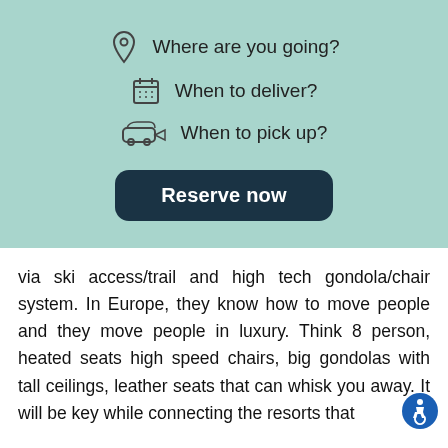Where are you going?
When to deliver?
When to pick up?
Reserve now
via ski access/trail and high tech gondola/chair system. In Europe, they know how to move people and they move people in luxury. Think 8 person, heated seats high speed chairs, big gondolas with tall ceilings, leather seats that can whisk you away. It will be key while connecting the resorts that